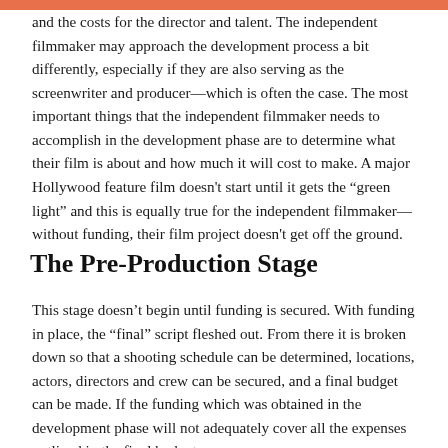and the costs for the director and talent. The independent filmmaker may approach the development process a bit differently, especially if they are also serving as the screenwriter and producer—which is often the case. The most important things that the independent filmmaker needs to accomplish in the development phase are to determine what their film is about and how much it will cost to make. A major Hollywood feature film doesn't start until it gets the "green light" and this is equally true for the independent filmmaker—without funding, their film project doesn't get off the ground.
The Pre-Production Stage
This stage doesn't begin until funding is secured. With funding in place, the "final" script fleshed out. From there it is broken down so that a shooting schedule can be determined, locations, actors, directors and crew can be secured, and a final budget can be made. If the funding which was obtained in the development phase will not adequately cover all the expenses outlined in the final budget,